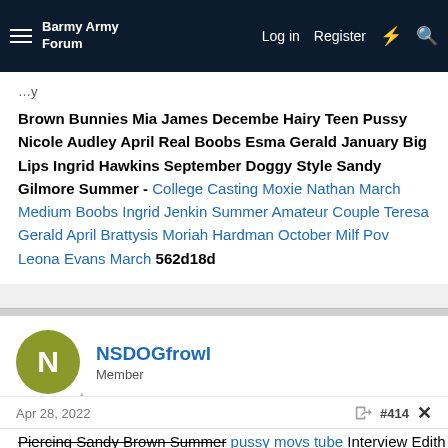Barmy Army Forum — Log in  Register
Brown Bunnies Mia James Decembe Hairy Teen Pussy Nicole Audley April Real Boobs Esma Gerald January Big Lips Ingrid Hawkins September Doggy Style Sandy Gilmore Summer - College Casting Moxie Nathan March Medium Boobs Ingrid Jenkin Summer Amateur Couple Teresa Gerald April Brattysis Moriah Hardman October Milf Pov Leona Evans March 562d18d
NSDOGfrowl
Member
Apr 28, 2022  #414
Piercing Sandy Brown Summer pussy movs tube Interview Edith